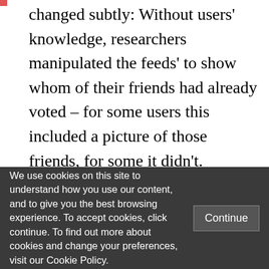changed subtly: Without users' knowledge, researchers manipulated the feeds' to show whom of their friends had already voted – for some users this included a picture of those friends, for some it didn't. Subsequently, this information was matched with the voter-records to understand who actually went out to vote and whether this was depending on their friends' behaviour. This 61-million-person experiment investigating social
We use cookies on this site to understand how you use our content, and to give you the best browsing experience. To accept cookies, click continue. To find out more about cookies and change your preferences, visit our Cookie Policy.